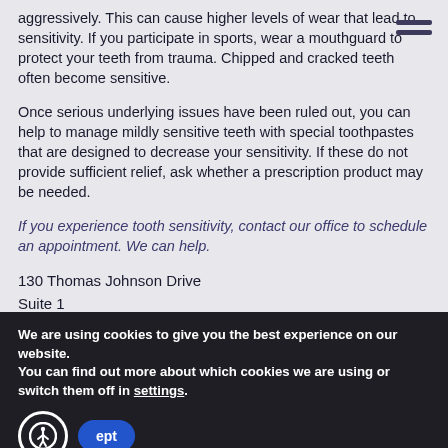aggressively. This can cause higher levels of wear that lead to sensitivity. If you participate in sports, wear a mouthguard to protect your teeth from trauma. Chipped and cracked teeth often become sensitive.
Once serious underlying issues have been ruled out, you can help to manage mildly sensitive teeth with special toothpastes that are designed to decrease your sensitivity. If these do not provide sufficient relief, ask whether a prescription product may be needed.
If you experience tooth sensitivity, contact our office to schedule an appointment. We can help.
130 Thomas Johnson Drive
Suite 1
Frederick, MD 21702
We are using cookies to give you the best experience on our website.
You can find out more about which cookies we are using or switch them off in settings.